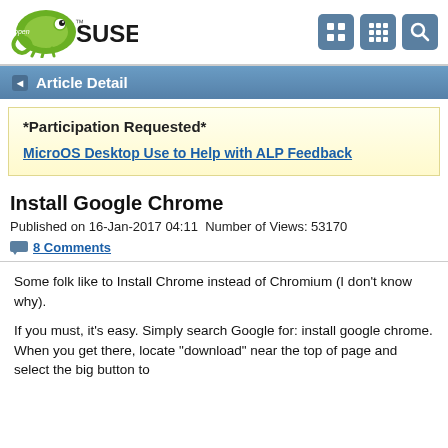openSUSE
Article Detail
*Participation Requested*
MicroOS Desktop Use to Help with ALP Feedback
Install Google Chrome
Published on 16-Jan-2017 04:11  Number of Views: 53170
8 Comments
Some folk like to Install Chrome instead of Chromium (I don't know why).
If you must, it's easy. Simply search Google for: install google chrome. When you get there, locate "download" near the top of page and select the big button to Download/Run the deb or RPM package.